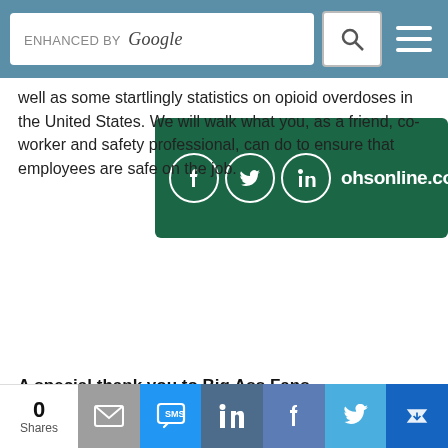[Figure (screenshot): Search bar with 'ENHANCED BY Google' text, search icon button, and hamburger menu button on a teal/steel-blue background]
[Figure (infographic): Green banner with Facebook, Twitter, LinkedIn social icons and 'ohsonline.com/live' URL]
well as some startlingly statistics on opioid overdoses in the United States. We will walk what you, as a friend, co-worker and safety professional, can do to ensure that employees are safe on the job.
If you have a topic you'd like us to cover on OH&S SafetyPod, feel free to email us at ohssafetypod@gmail.com.
Download or stream this episode today at Apple Podcasts, Google Podcasts, Stitcher, Spotify and more.
A special thank you to Big Ass Fans
[Figure (infographic): Share bar with count '0 Shares' and social sharing icons: email (grey), SMS (blue), LinkedIn (dark blue), Facebook (medium blue), Twitter (light blue), crown/other (dark blue)]